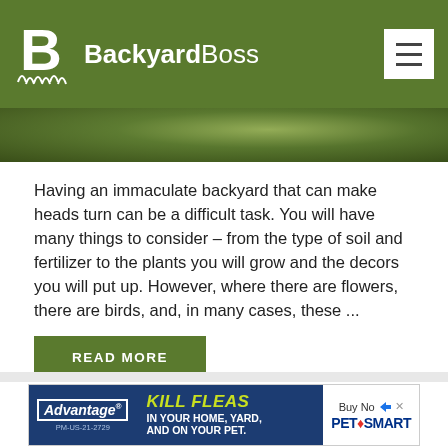BackyardBoss
[Figure (photo): Blurred green outdoor/garden background image strip]
Having an immaculate backyard that can make heads turn can be a difficult task. You will have many things to consider – from the type of soil and fertilizer to the plants you will grow and the decors you will put up. However, where there are flowers, there are birds, and, in many cases, these ...
READ MORE
0 Comments
[Figure (infographic): Advantage flea treatment advertisement banner: KILL FLEAS IN YOUR HOME, YARD, AND ON YOUR PET. Buy Now. PetSmart logo.]